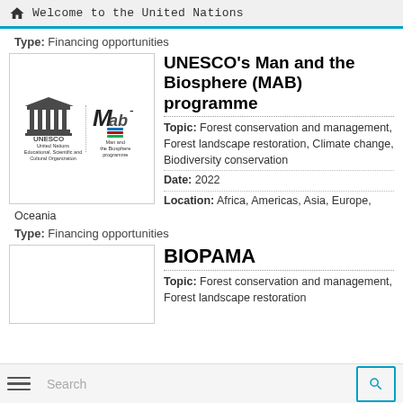Welcome to the United Nations
Type: Financing opportunities
[Figure (logo): UNESCO and Man and the Biosphere (MAB) programme logos side by side]
UNESCO's Man and the Biosphere (MAB) programme
Topic: Forest conservation and management, Forest landscape restoration, Climate change, Biodiversity conservation
Date: 2022
Location: Africa, Americas, Asia, Europe, Oceania
Type: Financing opportunities
[Figure (other): BIOPAMA logo box (empty/placeholder)]
BIOPAMA
Topic: Forest conservation and management, Forest landscape restoration...
Search